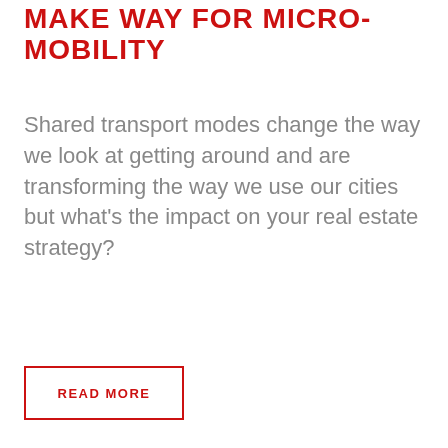MAKE WAY FOR MICRO-MOBILITY
Shared transport modes change the way we look at getting around and are transforming the way we use our cities but what's the impact on your real estate strategy?
READ MORE